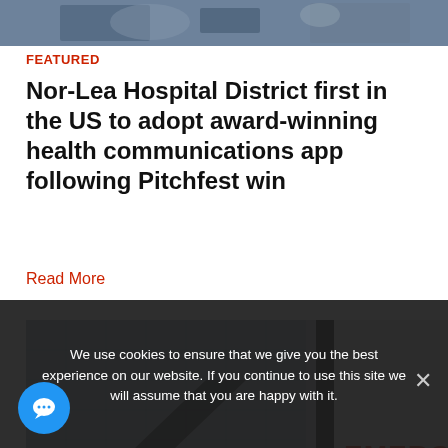[Figure (photo): Top portion of a photo showing people in a meeting or conference setting with a screen visible]
FEATURED
Nor-Lea Hospital District first in the US to adopt award-winning health communications app following Pitchfest win
Read More
[Figure (photo): Photo of an emergency vehicle or ambulance docked at a hospital building; the word EMERGENCY is visible in red on a white vehicle]
We use cookies to ensure that we give you the best experience on our website. If you continue to use this site we will assume that you are happy with it.